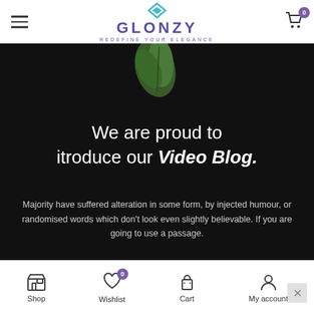GLONZY — REDEFINE YOUR ELEGANCE
[Figure (screenshot): Hero banner with dark background, plant leaf image at top, and promotional text for a Video Blog]
We are proud to itroduce our Video Blog.
Majority have suffered alteration in some form, by injected humour, or randomised words which don't look even slightly believable. If you are going to use a passage.
Shop   Wishlist 0   Cart   My account